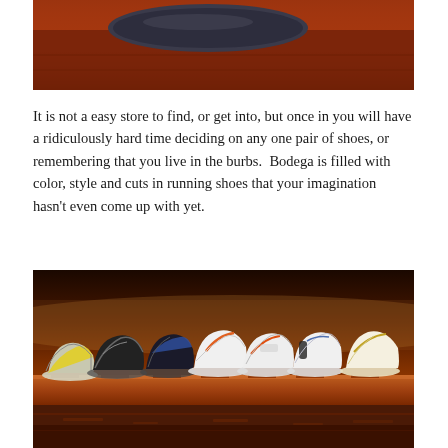[Figure (photo): Close-up photo of a red/brown surface with a dark grey oval or rounded rectangular object visible, possibly the sole of a shoe on a shelf — warm amber and dark tones.]
It is not a easy store to find, or get into, but once in you will have a ridiculously hard time deciding on any one pair of shoes, or remembering that you live in the burbs.  Bodega is filled with color, style and cuts in running shoes that your imagination hasn't even come up with yet.
[Figure (photo): Photo of multiple Nike sneakers (Air Max style) displayed in a row on a warm wooden shelf inside a store. Shoes in various colorways: yellow/grey, black/grey, black/blue, white/orange, white/grey/orange, white/grey/blue, white/gold. Warm amber lighting. Bodega shoe store interior.]